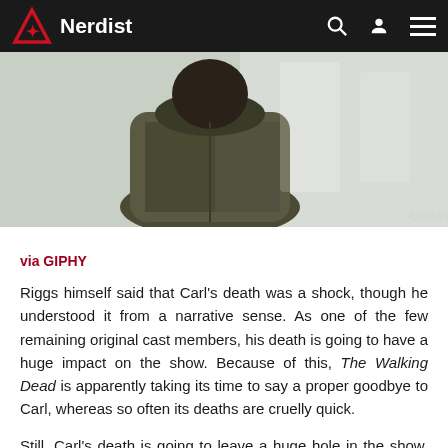Nerdist
[Figure (photo): Close-up photo of a person in a worn camouflage or military-style jacket, partially obscured. Watermark 'CHPXU' visible in bottom right.]
via GIPHY
Riggs himself said that Carl's death was a shock, though he understood it from a narrative sense. As one of the few remaining original cast members, his death is going to have a huge impact on the show. Because of this, The Walking Dead is apparently taking its time to say a proper goodbye to Carl, whereas so often its deaths are cruelly quick.
Still, Carl's death is going to leave a huge hole in the show, and is likely going to drastically change the trajectory for Rick and his fellow survivors; we really don't know what to expect from The Walking Dead next.
How do you think Carl is going to spend his last days on